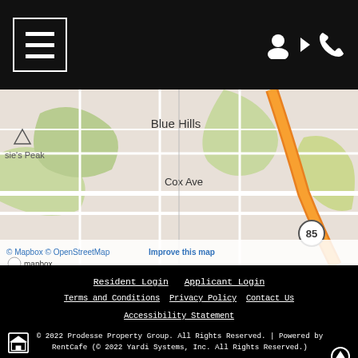[Figure (screenshot): Navigation header bar with hamburger menu icon on left, user account and phone icons on right, against dark background]
[Figure (map): Mapbox/OpenStreetMap map showing Blue Hills area with Cox Ave, Saratoga Ave, Titus road, Quito Rd, and highway 85. Shows Bessie's Peak on the left. Orange highway visible. Attribution text: © Mapbox © OpenStreetMap Improve this map, with Mapbox logo.]
Resident Login   Applicant Login
Terms and Conditions   Privacy Policy   Contact Us
Accessibility Statement
© 2022 Prodesse Property Group. All Rights Reserved. | Powered by RentCafe (© 2022 Yardi Systems, Inc. All Rights Reserved.)